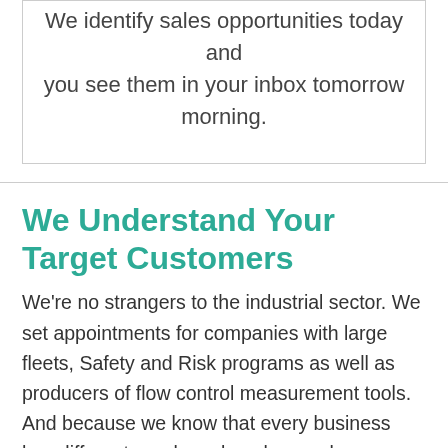We identify sales opportunities today and you see them in your inbox tomorrow morning.
We Understand Your Target Customers
We're no strangers to the industrial sector. We set appointments for companies with large fleets, Safety and Risk programs as well as producers of flow control measurement tools.  And because we know that every business has different needs and goals, we always  make sure that we're knowledgeable about your business before the first call is